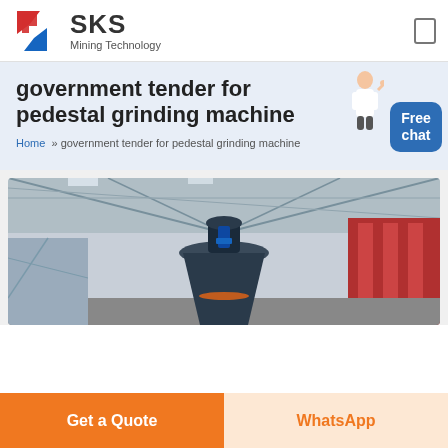[Figure (logo): SKS Mining Technology logo with red and blue geometric S icon and bold SKS text]
government tender for pedestal grinding machine
Home » government tender for pedestal grinding machine
[Figure (photo): Large industrial grinding machine (vertical mill) inside a factory/warehouse building with metal truss roof]
Get a Quote
WhatsApp